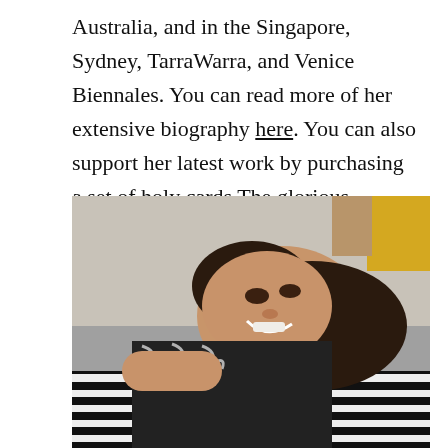Australia, and in the Singapore, Sydney, TarraWarra, and Venice Biennales. You can read more of her extensive biography here. You can also support her latest work by purchasing a set of holy cards The glorious Liturgy of the Saprophyte by SJNorman.
[Figure (photo): A smiling woman with dark hair lying down, wearing a black and white patterned top, resting on a black and white zebra-striped surface.]